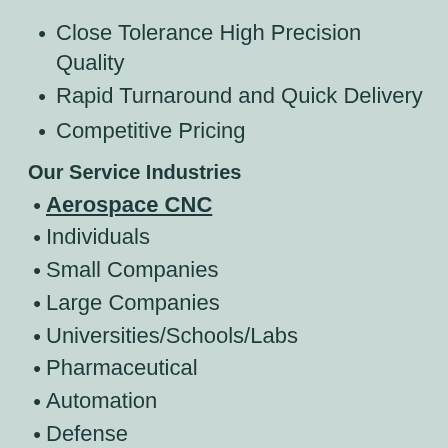Close Tolerance High Precision Quality
Rapid Turnaround and Quick Delivery
Competitive Pricing
Our Service Industries
Aerospace CNC
Individuals
Small Companies
Large Companies
Universities/Schools/Labs
Pharmaceutical
Automation
Defense
Scientists